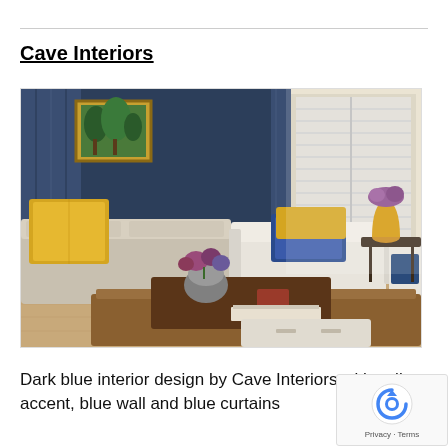Cave Interiors
[Figure (photo): Dark blue living room interior with yellow accent cushions on grey sofa, blue velvet cushion on armchair, dark navy walls, blue curtains, white shuttered windows, floral arrangement on coffee table, and golden vase on side table.]
Dark blue interior design by Cave Interiors with yellow accent, blue wall and blue curtains